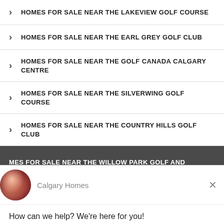HOMES FOR SALE NEAR THE LAKEVIEW GOLF COURSE
HOMES FOR SALE NEAR THE EARL GREY GOLF CLUB
HOMES FOR SALE NEAR THE GOLF CANADA CALGARY CENTRE
HOMES FOR SALE NEAR THE SILVERWING GOLF COURSE
HOMES FOR SALE NEAR THE COUNTRY HILLS GOLF CLUB
MES FOR SALE NEAR THE WILLOW PARK GOLF AND
[Figure (screenshot): Chat widget overlay from Calgary Homes showing avatar, name, greeting message, reply input field, and 'Chat by Drift' footer]
How can we help? We're here for you!
Reply to Calgary Homes
Chat ⚡ by Drift